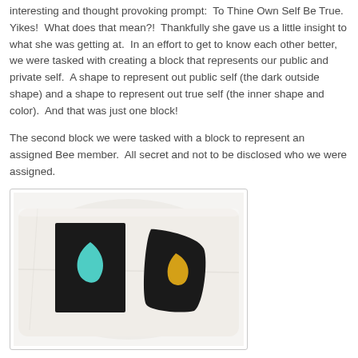interesting and thought provoking prompt:  To Thine Own Self Be True.  Yikes!  What does that mean?!  Thankfully she gave us a little insight to what she was getting at.  In an effort to get to know each other better, we were tasked with creating a block that represents our public and private self.  A shape to represent out public self (the dark outside shape) and a shape to represent out true self (the inner shape and color).  And that was just one block!
The second block we were tasked with a block to represent an assigned Bee member.  All secret and not to be disclosed who we were assigned.
[Figure (photo): A white tote bag or fabric item laid flat showing two quilted blocks side by side. The left block has a black square background with a teal/mint flame or leaf shape cut-out. The right block has a black curved shape with a yellow flame or leaf shape cut-out. Both are displayed on white fabric.]